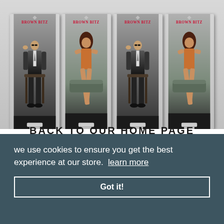[Figure (photo): Four roll-up banner stands displayed side by side. Two feature a man in a dark suit sitting on a chair, and two feature a woman in a fashion pose. Banners have 'Brown Bitz' branding logo at the top.]
BACK TO OUR HOME PAGE
we use cookies to ensure you get the best experience at our store. learn more
Got it!